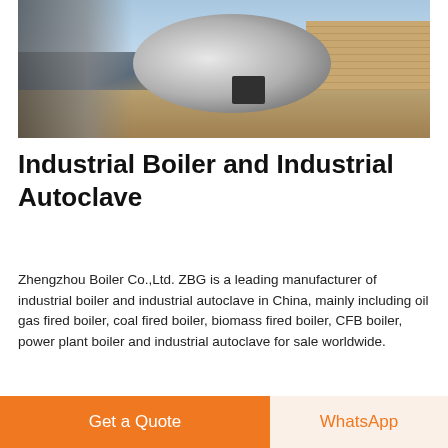[Figure (photo): Outdoor industrial site showing a large cylindrical boiler being installed, with workers and scaffolding visible, brick wall in background, construction site setting.]
Industrial Boiler and Industrial Autoclave
Zhengzhou Boiler Co.,Ltd. ZBG is a leading manufacturer of industrial boiler and industrial autoclave in China, mainly including oil gas fired boiler, coal fired boiler, biomass fired boiler, CFB boiler, power plant boiler and industrial autoclave for sale worldwide.